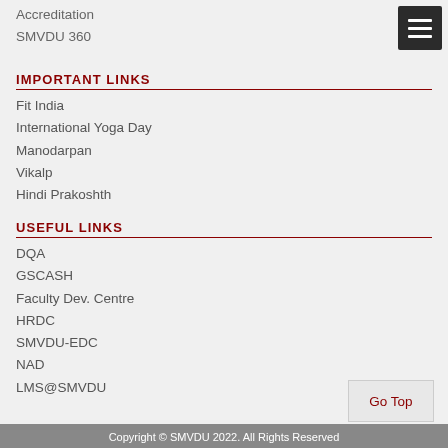Accreditation
SMVDU 360
IMPORTANT LINKS
Fit India
International Yoga Day
Manodarpan
Vikalp
Hindi Prakoshth
USEFUL LINKS
DQA
GSCASH
Faculty Dev. Centre
HRDC
SMVDU-EDC
NAD
LMS@SMVDU
Copyright © SMVDU 2022. All Rights Reserved